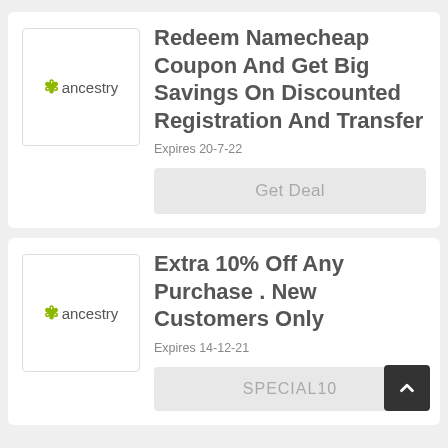[Figure (logo): Ancestry.com logo in a white bordered box]
Redeem Namecheap Coupon And Get Big Savings On Discounted Registration And Transfer
Expires 20-7-22
Get Deal
[Figure (logo): Ancestry.com logo in a white bordered box]
Extra 10% Off Any Purchase . New Customers Only
Expires 14-12-21
SPECIAL10